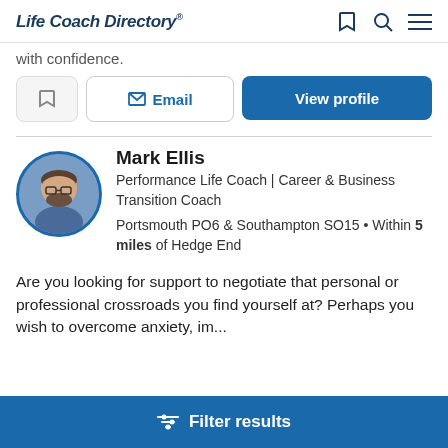Life Coach Directory®
with confidence.
Email | View profile
Mark Ellis
Performance Life Coach | Career & Business Transition Coach
Portsmouth PO6 & Southampton SO15 • Within 5 miles of Hedge End
Are you looking for support to negotiate that personal or professional crossroads you find yourself at?  Perhaps you wish to overcome anxiety, im...
Filter results